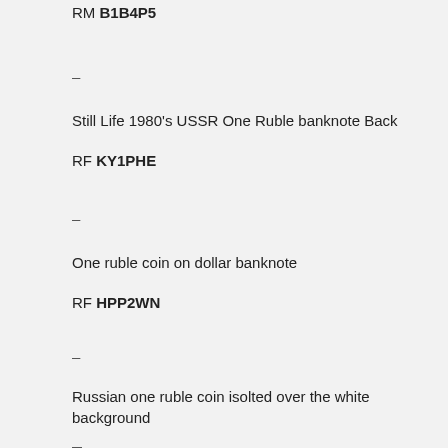RM B1B4P5
–
Still Life 1980's USSR One Ruble banknote Back
RF KY1PHE
–
One ruble coin on dollar banknote
RF HPP2WN
–
Russian one ruble coin isolted over the white background
RF MYA926
–